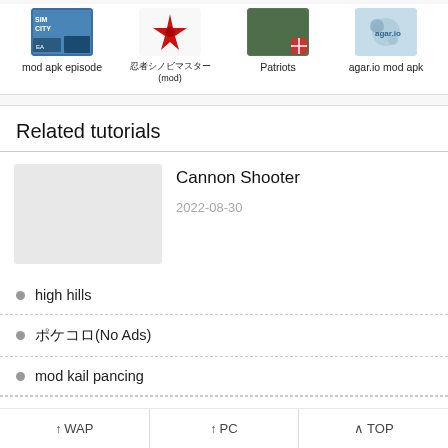[Figure (screenshot): Row of four app icons with labels: mod apk episode, 忍者シノビマスター(mod), Patriots, agar.io mod apk]
Related tutorials
[Figure (screenshot): Thumbnail placeholder (light grey box) for Cannon Shooter tutorial]
Cannon Shooter
2022-08-30
high hills
ポケコロ(No Ads)
mod kail pancing
↑WAP  ↑PC  ∧TOP